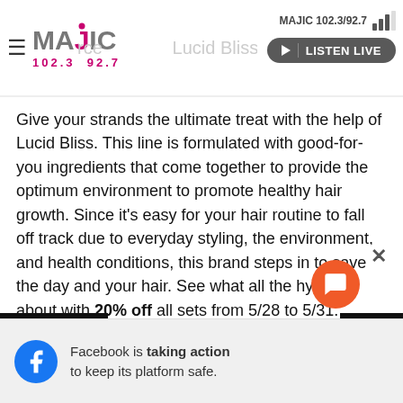MAJIC 102.3/92.7 | LISTEN LIVE
Give your strands the ultimate treat with the help of Lucid Bliss. This line is formulated with good-for-you ingredients that come together to provide the optimum environment to promote healthy hair growth. Since it's easy for your hair routine to fall off track due to everyday styling, the environment, and health conditions, this brand steps in to save the day and your hair. See what all the hype is about with 20% off all sets from 5/28 to 5/31.
DON'T MISS:
TRIED IT: My Hair Thanked Me After Trying Ouidad's Curl Infusion Products
[Figure (screenshot): Facebook ad banner: Facebook is taking action to keep its platform safe.]